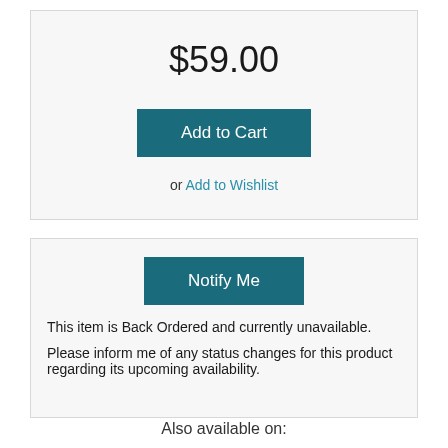$59.00
Add to Cart
or Add to Wishlist
Notify Me
This item is Back Ordered and currently unavailable.
Please inform me of any status changes for this product regarding its upcoming availability.
Also available on: